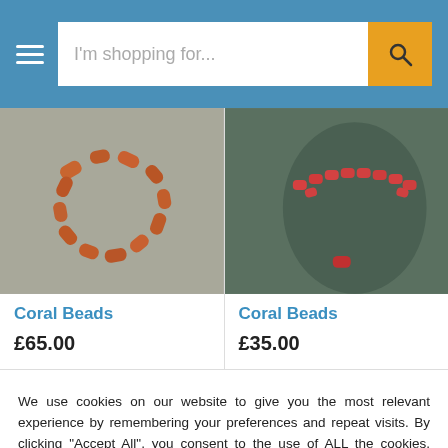[Figure (screenshot): E-commerce website header with hamburger menu icon, search bar with placeholder 'I'm shopping for...' and orange search button]
[Figure (photo): Photo of coral beads necklace arranged loosely on a gray surface]
Coral Beads
£65.00
[Figure (photo): Photo of red coral beads necklace on a dark display stand]
Coral Beads
£35.00
We use cookies on our website to give you the most relevant experience by remembering your preferences and repeat visits. By clicking "Accept All", you consent to the use of ALL the cookies. However, you may visit "Cookie Settings" to provide a controlled consent.
Cookie Settings
Accept All